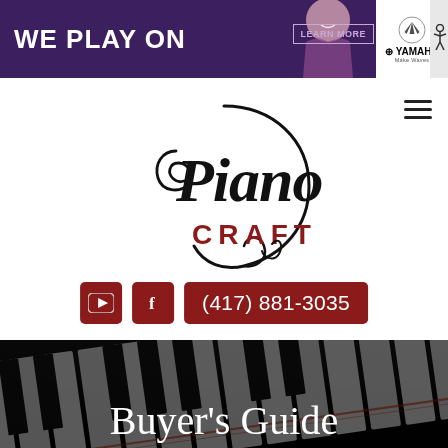[Figure (screenshot): Yamaha 'We Play On' promotional banner with woman smiling, 'Learn More' button, and Yamaha logo on purple background]
[Figure (logo): Piano Craft logo with stylized cursive 'Piano' text in black and 'CRAFT' in dark red below]
(417) 881-3035
Buyer's Guide